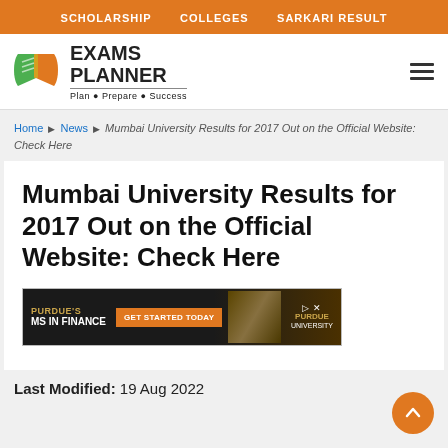SCHOLARSHIP   COLLEGES   SARKARI RESULT
[Figure (logo): Exams Planner logo with open book icon in green and orange, text EXAMS PLANNER, tagline Plan • Prepare • Success]
Home ▶ News ▶ Mumbai University Results for 2017 Out on the Official Website: Check Here
Mumbai University Results for 2017 Out on the Official Website: Check Here
[Figure (screenshot): Advertisement banner: PURDUE'S MS IN FINANCE - GET STARTED TODAY - Purdue University logo]
Last Modified: 19 Aug 2022